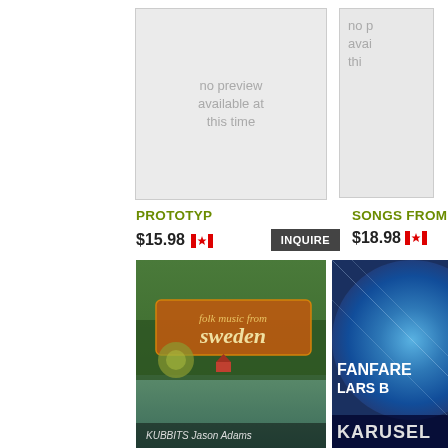[Figure (photo): Album cover placeholder for PROTOTYP — grey box with text 'no preview available at this time']
PROTOTYP
$15.98 [CA flag] INQUIRE
[Figure (photo): Album cover placeholder for SONGS FROM — grey box with text 'no p avai thi' (partially visible)]
SONGS FROM
$18.98 [CA flag]
[Figure (photo): Album cover for Folk Music from Sweden — KUBBITS Jason Adams — shows a forest lake landscape with 'folk music from Sweden' text on an orange banner]
Folk Music from Sweden
[Figure (photo): Partially visible album cover for KARUSELL — FANFARE LARS B — blue abstract disc design]
KARUSELL M